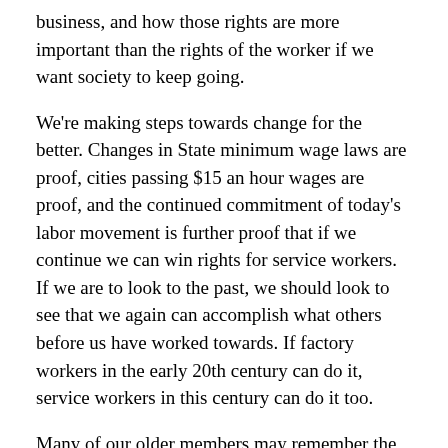business, and how those rights are more important than the rights of the worker if we want society to keep going.
We're making steps towards change for the better. Changes in State minimum wage laws are proof, cities passing $15 an hour wages are proof, and the continued commitment of today's labor movement is further proof that if we continue we can win rights for service workers. If we are to look to the past, we should look to see that we again can accomplish what others before us have worked towards. If factory workers in the early 20th century can do it, service workers in this century can do it too.
Many of our older members may remember the days when we were a manufacturing economy, or even the days when those workers fought for hard-won labor rights. Please share your stories in the comments, would love to hear them!